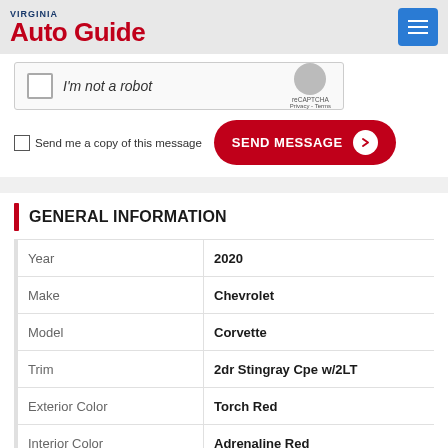Virginia Auto Guide
[Figure (screenshot): reCAPTCHA widget with 'I'm not a robot' checkbox]
Send me a copy of this message
SEND MESSAGE
GENERAL INFORMATION
| Field | Value |
| --- | --- |
| Year | 2020 |
| Make | Chevrolet |
| Model | Corvette |
| Trim | 2dr Stingray Cpe w/2LT |
| Exterior Color | Torch Red |
| Interior Color | Adrenaline Red |
| Transmission | Automatic |
| Mileage | 5,401 miles |